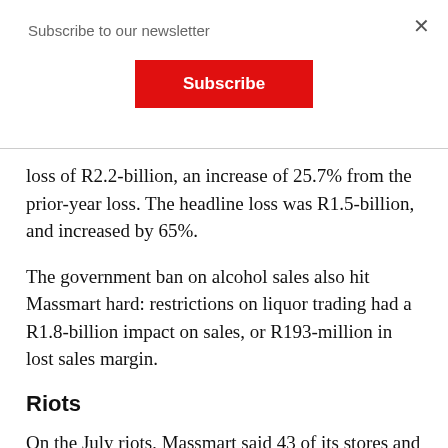Subscribe to our newsletter
[Figure (other): Red Subscribe button]
loss of R2.2-billion, an increase of 25.7% from the prior-year loss. The headline loss was R1.5-billion, and increased by 65%.
The government ban on alcohol sales also hit Massmart hard: restrictions on liquor trading had a R1.8-billion impact on sales, or R193-million in lost sales margin.
Riots
On the July riots, Massmart said 43 of its stores and two of its distribution centres were impacted. Nine stores and both DCs still remain closed due to “significant